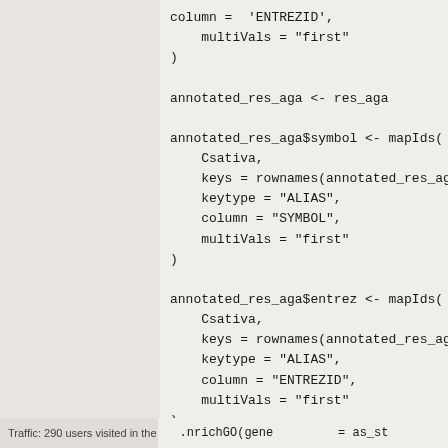column =  'ENTREZID',
    multiVals = "first"
)

annotated_res_aga <- res_aga

annotated_res_aga$symbol <- mapIds(
    Csativa,
    keys = rownames(annotated_res_aga),
    keytype = "ALIAS",
    column = "SYMBOL",
    multiVals = "first"
)

annotated_res_aga$entrez <- mapIds(
    Csativa,
    keys = rownames(annotated_res_aga),
    keytype = "ALIAS",
    column = "ENTREZID",
    multiVals = "first"
)
Traffic: 290 users visited in the last hour